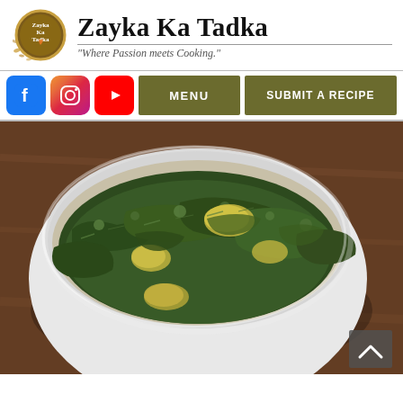Zayka Ka Tadka — "Where Passion meets Cooking."
[Figure (logo): Zayka Ka Tadka circular logo with spice/flame motif]
Zayka Ka Tadka
"Where Passion meets Cooking."
[Figure (infographic): Navigation bar with Facebook, Instagram, YouTube social icons and MENU and SUBMIT A RECIPE buttons]
[Figure (photo): A white bowl containing a green and potato Indian dish, likely aloo methi, served on a wooden surface]